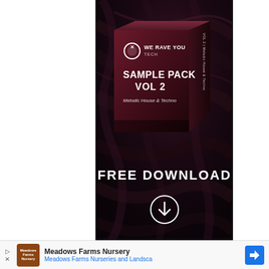[Figure (illustration): We Rave You Tech Sample Pack Vol 2 Melodic House & Techno product box displayed on dark draped fabric background with FREE DOWNLOAD text and a download arrow circle button below]
FREE DOWNLOAD
Meadows Farms Nursery
Meadows Farms Nurseries and Landsca